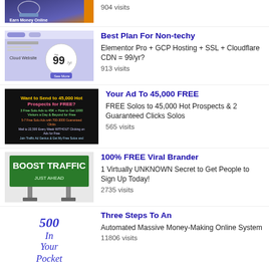[Figure (screenshot): Earn Money Online banner thumbnail (partially visible at top)]
904 visits
[Figure (screenshot): Cloud Website pricing thumbnail showing 99/yr]
Best Plan For Non-techy
Elementor Pro + GCP Hosting + SSL + Cloudflare CDN = 99/yr?
913 visits
[Figure (screenshot): Want to Send to 45,000 Hot Prospects for FREE? dark background ad thumbnail]
Your Ad To 45,000 FREE
FREE Solos to 45,000 Hot Prospects & 2 Guaranteed Clicks Solos
565 visits
[Figure (screenshot): Boost Traffic Just Ahead billboard green sign thumbnail]
100% FREE Viral Brander
1 Virtually UNKNOWN Secret to Get People to Sign Up Today!
2735 visits
[Figure (screenshot): 500 In Your Pocket italic text thumbnail (partially visible)]
Three Steps To An
Automated Massive Money-Making Online System
11806 visits